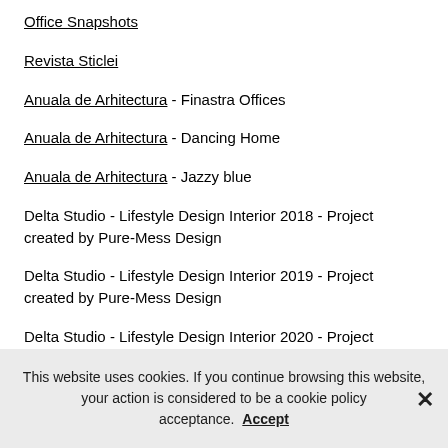Office Snapshots
Revista Sticlei
Anuala de Arhitectura - Finastra Offices
Anuala de Arhitectura - Dancing Home
Anuala de Arhitectura - Jazzy blue
Delta Studio - Lifestyle Design Interior 2018 - Project created by Pure-Mess Design
Delta Studio - Lifestyle Design Interior 2019 - Project created by Pure-Mess Design
Delta Studio - Lifestyle Design Interior 2020 - Project created by Pure-Mess Design
Inalco Ceramica
This website uses cookies. If you continue browsing this website, your action is considered to be a cookie policy acceptance. Accept